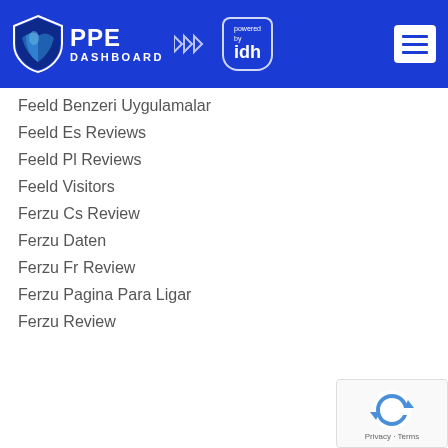PPE DASHBOARD powered by idh
Feeld Benzeri Uygulamalar
Feeld Es Reviews
Feeld Pl Reviews
Feeld Visitors
Ferzu Cs Review
Ferzu Daten
Ferzu Fr Review
Ferzu Pagina Para Ligar
Ferzu Review